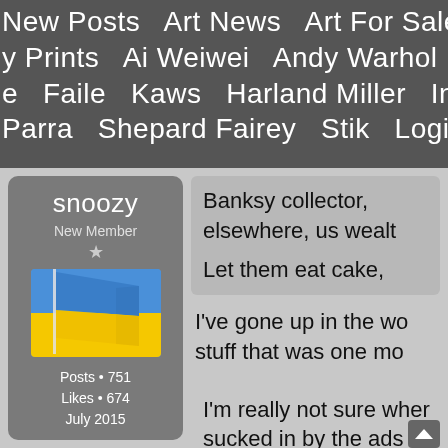New Posts  Art News  Art For Sale  Art A  y Prints  Ai Weiwei  Andy Warhol  Cleon  e  Faile  Kaws  Harland Miller  Invader  Parra  Shepard Fairey  Stik  Login  Reg
snoozy
New Member
★
Posts • 751
Likes • 674
July 2015
Banksy collector, elsewhere, us wealth

Let them eat cake,
I've gone up in the wo stuff that was one mo
I'm really not sure wher sucked in by the ads ab